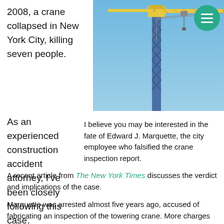2008, a crane collapsed in New York City, killing seven people.
[Figure (photo): A large tower crane photographed against a clear blue sky, showing the mast and horizontal jib of the crane.]
As an experienced construction accident attorney, I've been closely following this case. I believe you may be interested in the fate of Edward J. Marquette, the city employee who falsified the crane inspection report.
A recent article from The New York Times discusses the verdict and implications of the case.
Marquette was arrested almost five years ago, accused of fabricating an inspection of the towering crane. More charges involving other falsified crane inspections were later added